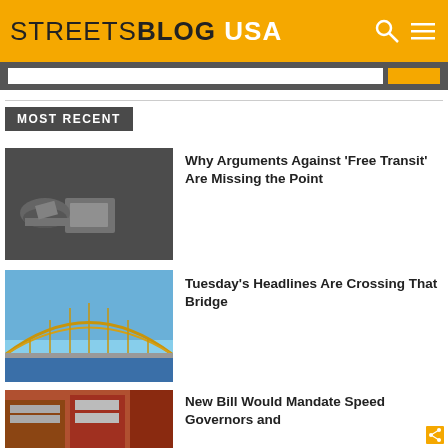STREETSBLOG USA
MOST RECENT
[Figure (photo): Black and white photo of hands placing a fare card into a transit fare machine]
Why Arguments Against ‘Free Transit’ Are Missing the Point
[Figure (photo): Photo of a large yellow steel arch bridge against a blue sky]
Tuesday’s Headlines Are Crossing That Bridge
[Figure (photo): Photo of a street scene with brick buildings]
New Bill Would Mandate Speed Governors and